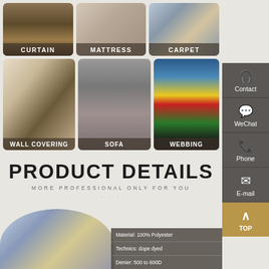[Figure (photo): Product category cards: CURTAIN, MATTRESS, CARPET (top row); WALL COVERING, SOFA, WEBBING (middle row)]
PRODUCT DETAILS
MORE PROFESSIONAL ONLY FOR YOU
[Figure (photo): Factory interior photo showing industrial machinery]
| Material: 100% Polyester |
| Technics: dope dyed |
| Denier: 500 to 600D |